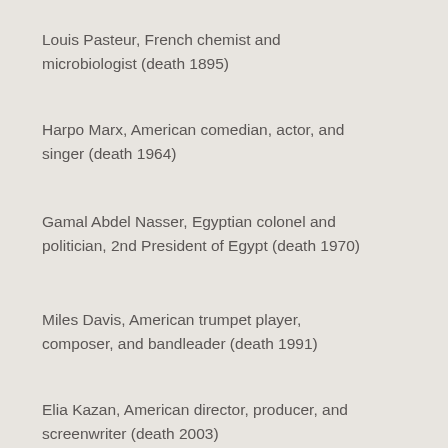Louis Pasteur, French chemist and microbiologist (death 1895)
Harpo Marx, American comedian, actor, and singer (death 1964)
Gamal Abdel Nasser, Egyptian colonel and politician, 2nd President of Egypt (death 1970)
Miles Davis, American trumpet player, composer, and bandleader (death 1991)
Elia Kazan, American director, producer, and screenwriter (death 2003)